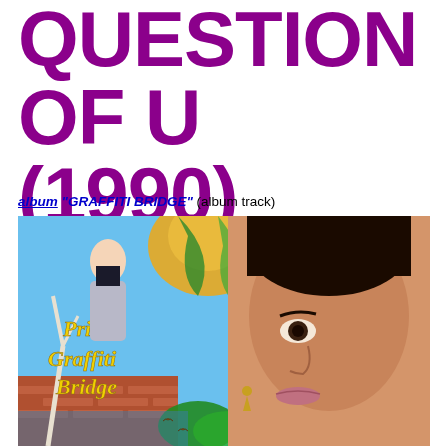QUESTION OF U (1990)
album "GRAFFITI BRIDGE" (album track)
[Figure (photo): Album cover for Prince - Graffiti Bridge, showing a woman on the left side and Prince's face on the right side, with colorful illustrated background and 'Prince Graffiti Bridge' text in yellow stylized lettering]